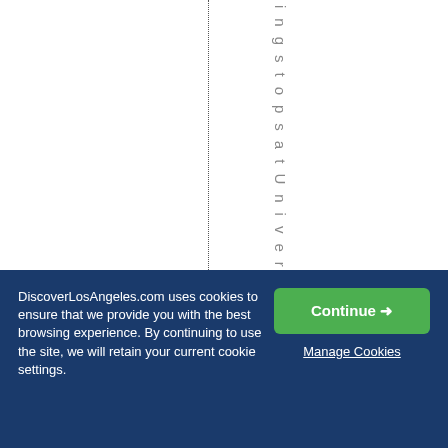ingstopsatUniver
DiscoverLosAngeles.com uses cookies to ensure that we provide you with the best browsing experience. By continuing to use the site, we will retain your current cookie settings.
Continue →
Manage Cookies